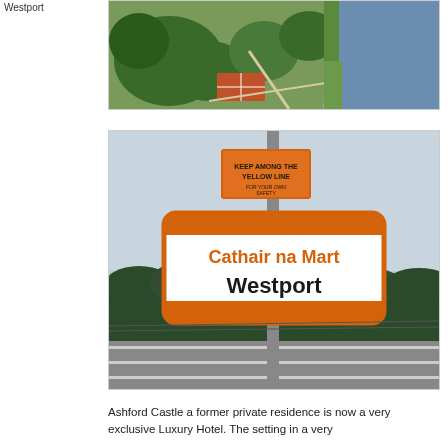Westport
[Figure (photo): Aerial view of Ashford Castle grounds showing trees, tennis courts, and a lake/river]
[Figure (photo): Photo of a railway station sign reading 'Cathair na Mart / Westport' in orange and black text, with a smaller orange warning sign above it on a pole, trees and platform in background]
Ashford Castle a former private residence is now a very exclusive Luxury Hotel. The setting in a very